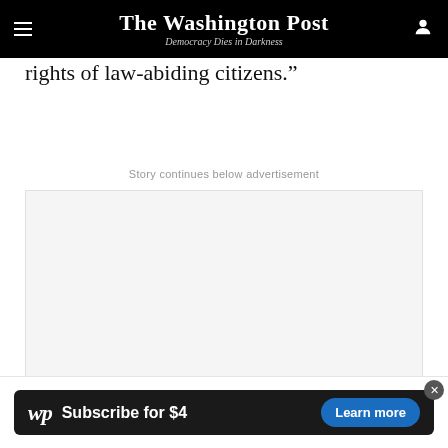The Washington Post — Democracy Dies in Darkness
rights of law-abiding citizens.”
Story continues below advertisement
[Figure (other): Advertisement placeholder box (gray background)]
[Figure (other): Washington Post subscription banner: wp logo, 'Subscribe for $4', 'Learn more' button, close X]